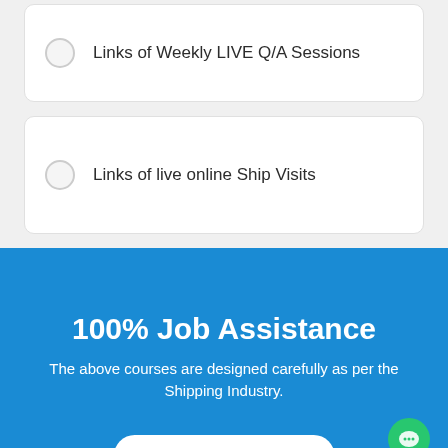Links of Weekly LIVE Q/A Sessions
Links of live online Ship Visits
100% Job Assistance
The above courses are designed carefully as per the Shipping Industry.